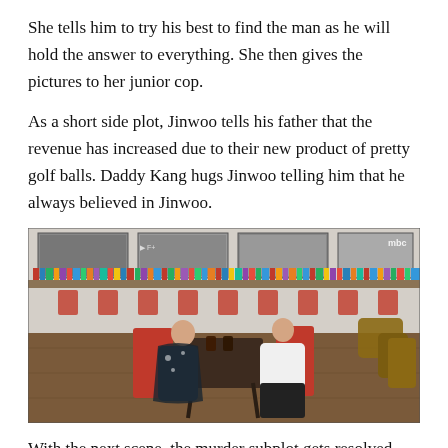She tells him to try his best to find the man as he will hold the answer to everything. She then gives the pictures to her junior cop.
As a short side plot, Jinwoo tells his father that the revenue has increased due to their new product of pretty golf balls. Daddy Kang hugs Jinwoo telling him that he always believed in Jinwoo.
[Figure (photo): A cafe or restaurant interior scene from a TV show (MBC watermark visible). Two women sit across from each other at a dark wooden table with red chairs. Behind them is a long table lined with colorful books along the back wall. Black and white photographs hang on the upper walls. The scene appears to be a drama screenshot.]
With the next scene, the murder subplot gets resolved. The police find the boyfriend and keep him in custody. The cop tells Deok-In who informs Eunseo that the main culprit who ordered the kill was not